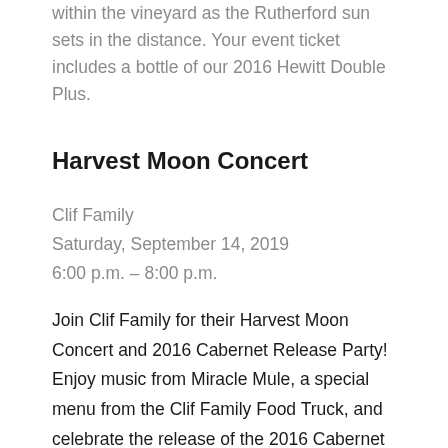within the vineyard as the Rutherford sun sets in the distance. Your event ticket includes a bottle of our 2016 Hewitt Double Plus.
Harvest Moon Concert
Clif Family
Saturday, September 14, 2019
6:00 p.m. – 8:00 p.m.
Join Clif Family for their Harvest Moon Concert and 2016 Cabernet Release Party! Enjoy music from Miracle Mule, a special menu from the Clif Family Food Truck, and celebrate the release of the 2016 Cabernet Sauvignon. Doors open at 5:00 p.m. for Club members to enjoy a little pre-concert fun with a splash of wine and a snack or two. Doors open to